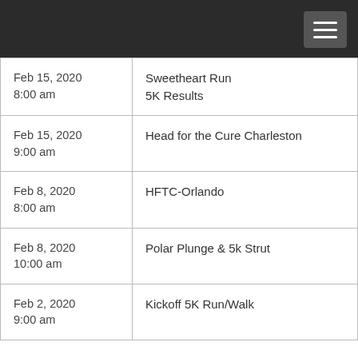| Date/Time | Event |
| --- | --- |
| Feb 15, 2020
8:00 am | Sweetheart Run
5K Results |
| Feb 15, 2020
9:00 am | Head for the Cure Charleston |
| Feb 8, 2020
8:00 am | HFTC-Orlando |
| Feb 8, 2020
10:00 am | Polar Plunge & 5k Strut |
| Feb 2, 2020
9:00 am | Kickoff 5K Run/Walk |